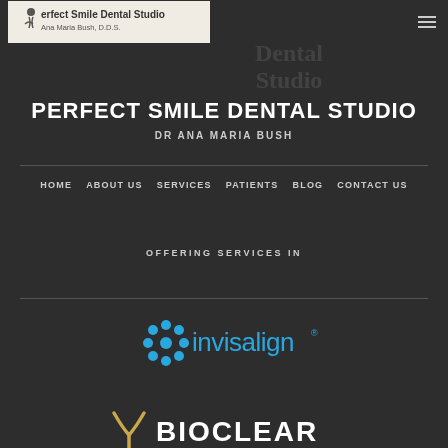[Figure (logo): Perfect Smile Dental Studio logo with Ana Maria Bush D.D.S. text on light background]
PERFECT SMILE DENTAL STUDIO
DR ANA MARIA BUSH
HOME  ABOUT US  SERVICES  PATIENTS  BLOG  CONTACT US
OFFERING SERVICES IN
[Figure (logo): Invisalign logo in blue and teal with snowflake/asterisk design]
[Figure (logo): Bioclear logo partially visible at bottom]